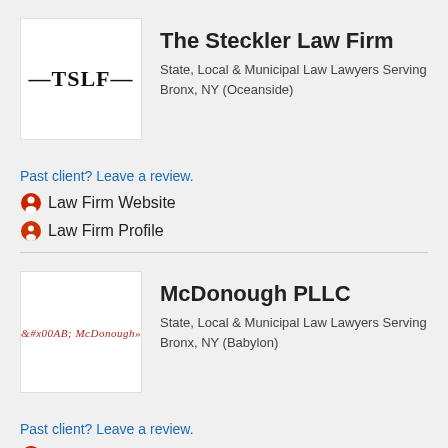[Figure (logo): TSLF logo - The Steckler Law Firm logo with dashes and bold text]
The Steckler Law Firm
State, Local & Municipal Law Lawyers Serving Bronx, NY (Oceanside)
Past client? Leave a review.
Law Firm Website
Law Firm Profile
[Figure (logo): McDonough PLLC logo with italic serif text in dark red]
McDonough PLLC
State, Local & Municipal Law Lawyers Serving Bronx, NY (Babylon)
Past client? Leave a review.
Law Firm Website